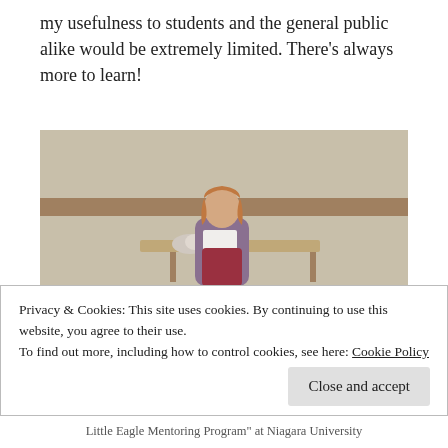my usefulness to students and the general public alike would be extremely limited. There's always more to learn!
[Figure (photo): A woman standing at the front of a classroom holding papers, presenting to a group of seated students viewed from behind.]
Privacy & Cookies: This site uses cookies. By continuing to use this website, you agree to their use.
To find out more, including how to control cookies, see here: Cookie Policy
Little Eagle Mentoring Program" at Niagara University